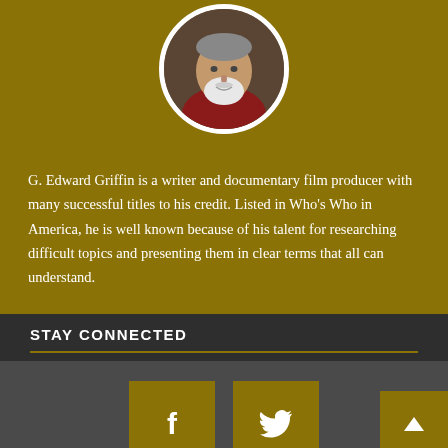[Figure (photo): Circular profile photo of G. Edward Griffin, an older man with a white beard, on a gold/olive background]
G. Edward Griffin is a writer and documentary film producer with many successful titles to his credit. Listed in Who's Who in America, he is well known because of his talent for researching difficult topics and presenting them in clear terms that all can understand.
STAY CONNECTED
[Figure (illustration): Social media icon buttons: Facebook (f) and Twitter (bird) on gold square backgrounds]
PRIVACY & COOKIE POLICY
ADVERTISING AT NEED TO KNOW